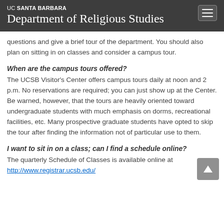UC SANTA BARBARA Department of Religious Studies
questions and give a brief tour of the department. You should also plan on sitting in on classes and consider a campus tour.
When are the campus tours offered?
The UCSB Visitor's Center offers campus tours daily at noon and 2 p.m. No reservations are required; you can just show up at the Center. Be warned, however, that the tours are heavily oriented toward undergraduate students with much emphasis on dorms, recreational facilities, etc. Many prospective graduate students have opted to skip the tour after finding the information not of particular use to them.
I want to sit in on a class; can I find a schedule online?
The quarterly Schedule of Classes is available online at http://www.registrar.ucsb.edu/